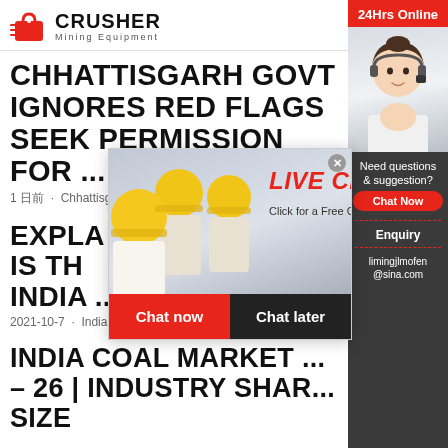[Figure (logo): Crusher Mining Equipment logo with red shopping bag icon and bold CRUSHER text]
CHHATTISGARH GOVT IGNORES RED FLAGS SEEK PERMISSION FOR ...
1 日前 · Chhattisgarh Govt Ignores Red Flags, Se...
[Figure (other): Live Chat popup overlay with workers in hard hats, LIVE CHAT text in red italic, Click for a Free Consultation, Chat now and Chat later buttons]
EXPLA... IS TH... INDIA ...
2021-10-7 · India's power sector is in the mid...
INDIA COAL MARKET ... – 26 | INDUSTRY SHAR... SIZE
[Figure (other): Right sidebar with 24Hrs Online banner, female customer service representative photo, Need questions & suggestion?, Chat Now button, Enquiry section, limingjlmofen@sina.com email]